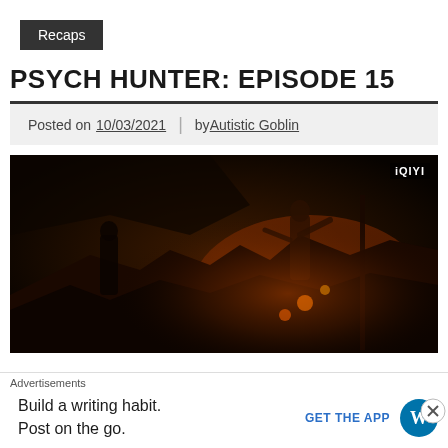Recaps
PSYCH HUNTER: EPISODE 15
Posted on 10/03/2021 | by Autistic Goblin
[Figure (photo): Dark cinematic still from Psych Hunter episode 15 showing a dramatic action scene with figures in a dimly lit, fiery environment. iQIYI watermark visible in top right corner.]
The episode starts with a bunch of wooden dolls strung up in a pretty dead looking tree with the names of the
Advertisements
Build a writing habit. Post on the go.
GET THE APP